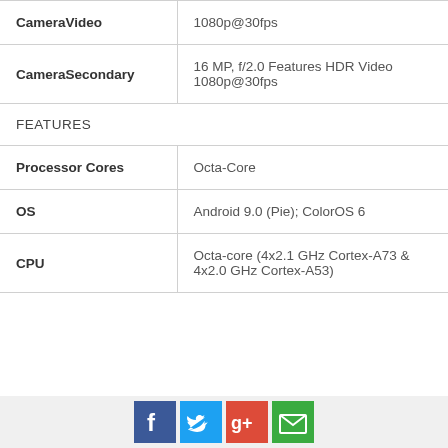| Feature | Value |
| --- | --- |
| CameraVideo | 1080p@30fps |
| CameraSecondary | 16 MP, f/2.0 Features HDR Video 1080p@30fps |
| FEATURES |  |
| Processor Cores | Octa-Core |
| OS | Android 9.0 (Pie); ColorOS 6 |
| CPU | Octa-core (4x2.1 GHz Cortex-A73 & 4x2.0 GHz Cortex-A53) |